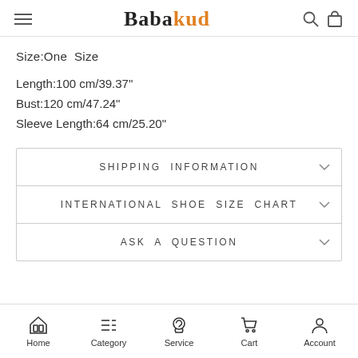Babakud
Size:One Size
Length:100 cm/39.37"
Bust:120 cm/47.24"
Sleeve Length:64 cm/25.20"
SHIPPING INFORMATION
INTERNATIONAL SHOE SIZE CHART
ASK A QUESTION
Home  Category  Service  Cart  Account